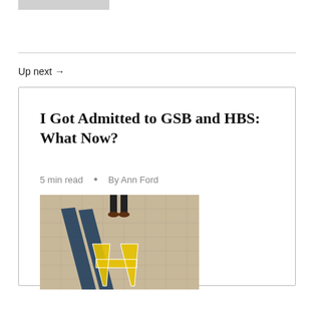[Figure (photo): Partial top image strip, gray rectangle]
Up next →
I Got Admitted to GSB and HBS: What Now?
5 min read  •  By Ann Ford
[Figure (photo): Person standing on yellow painted letter A on tiled pavement with shadow cast to the left]